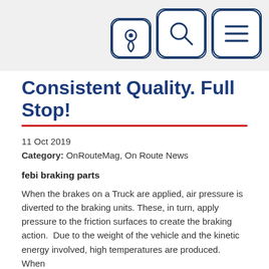[Figure (screenshot): Navigation icon buttons: location pin icon, search/magnifier icon, and hamburger menu icon, all in dark blue outline style with rounded square borders on a light grey header background.]
Consistent Quality. Full Stop!
11 Oct 2019
Category: OnRouteMag, On Route News
febi braking parts
When the brakes on a Truck are applied, air pressure is diverted to the braking units. These, in turn, apply pressure to the friction surfaces to create the braking action.  Due to the weight of the vehicle and the kinetic energy involved, high temperatures are produced.  When